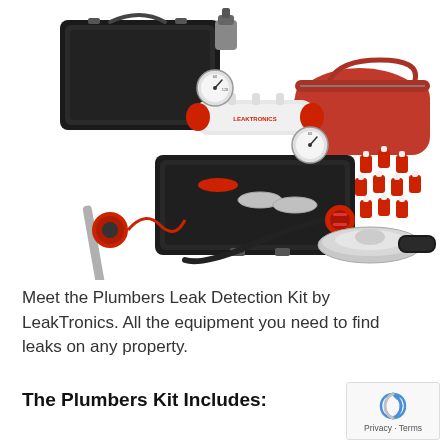[Figure (photo): Plumbers Leak Detection Kit by LeakTronics spread out showing: black hard case open with foam interior, white cylindrical pressure manifold labeled LEAKTRONICS, dual pressure gauges, red duffel bag, assorted red and white test plugs/fittings, a metal ground probe with red wire sensor, a silver funnel/disc leak detection plate with handle, hoses and connectors.]
Meet the Plumbers Leak Detection Kit by LeakTronics. All the equipment you need to find leaks on any property.
The Plumbers Kit Includes: